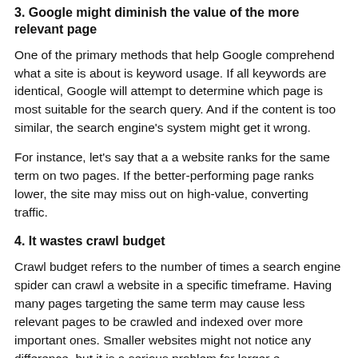3. Google might diminish the value of the more relevant page
One of the primary methods that help Google comprehend what a site is about is keyword usage. If all keywords are identical, Google will attempt to determine which page is most suitable for the search query. And if the content is too similar, the search engine's system might get it wrong.
For instance, let's say that a a website ranks for the same term on two pages. If the better-performing page ranks lower, the site may miss out on high-value, converting traffic.
4. It wastes crawl budget
Crawl budget refers to the number of times a search engine spider can crawl a website in a specific timeframe. Having many pages targeting the same term may cause less relevant pages to be crawled and indexed over more important ones. Smaller websites might not notice any difference, but it is a serious problem for larger e-